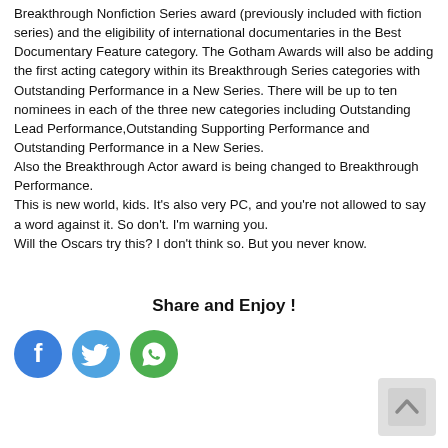Breakthrough Nonfiction Series award (previously included with fiction series) and the eligibility of international documentaries in the Best Documentary Feature category. The Gotham Awards will also be adding the first acting category within its Breakthrough Series categories with Outstanding Performance in a New Series. There will be up to ten nominees in each of the three new categories including Outstanding Lead Performance,Outstanding Supporting Performance and Outstanding Performance in a New Series.
Also the Breakthrough Actor award is being changed to Breakthrough Performance.
This is new world, kids. It's also very PC, and you're not allowed to say a word against it. So don't. I'm warning you.
Will the Oscars try this? I don't think so. But you never know.
Share and Enjoy !
[Figure (other): Three social media share buttons: Facebook (blue circle with 'f'), Twitter (blue circle with bird icon), WhatsApp (green circle with phone/message icon)]
[Figure (other): Back to top button: grey rounded rectangle with upward chevron arrow]